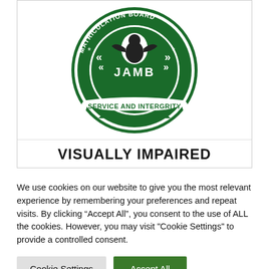[Figure (logo): JAMB (Joint Admissions and Matriculation Board) circular logo in green and white. Features an eagle/bird emblem at top center, decorative chevrons, text reading 'JAMB' across the middle, 'MATRICULATION BOARD' around the upper arc, and a banner at the bottom reading 'SERVICE AND INTERGRITY'.]
VISUALLY IMPAIRED
We use cookies on our website to give you the most relevant experience by remembering your preferences and repeat visits. By clicking “Accept All”, you consent to the use of ALL the cookies. However, you may visit "Cookie Settings" to provide a controlled consent.